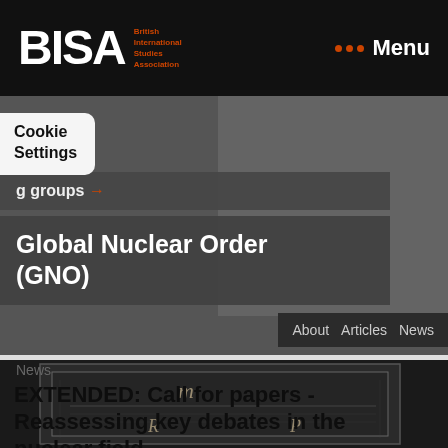BISA — British International Studies Association | Menu
Cookie Settings
g groups →
Global Nuclear Order (GNO)
About  Articles  News
News
EXTENDED: Call for papers - Reassessing key debates in the nuclear field
26 August 2021
[Figure (photo): Partial view of an antique diagram or engraving showing letters m, R, P and architectural/geometric elements]